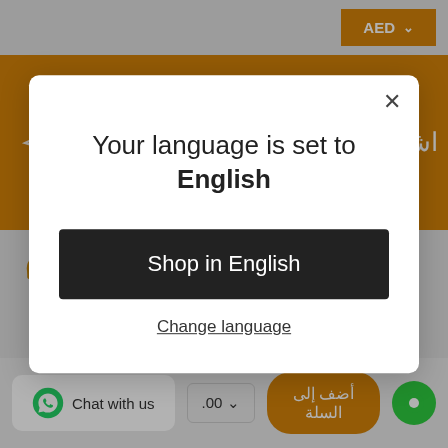[Figure (screenshot): E-commerce website screenshot showing AED currency selector button in top right, Arabic newsletter signup banner in orange, phone number contact section, and bottom bar with WhatsApp chat button, price selector, add to cart button, and green chat bubble.]
Your language is set to English
Shop in English
Change language